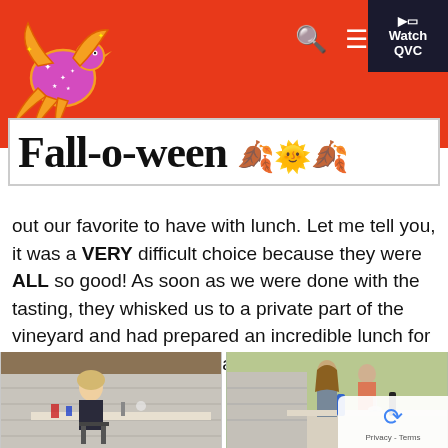Fall-o-ween blog header with QVC Watch button and navigation icons
[Figure (logo): QVC phoenix/bird logo in orange and pink with stars on a red background]
Fall-o-ween 🍂🎃🍁
out our favorite to have with lunch. Let me tell you, it was a VERY difficult choice because they were ALL so good! As soon as we were done with the tasting, they whisked us to a private part of the vineyard and had prepared an incredible lunch for us – complete with decorations!
[Figure (photo): Young blonde girl sitting at an outdoor table decorated with red, white and blue decorations at a vineyard lunch]
[Figure (photo): Group of people at an outdoor table with wine glasses and blue water bottle at a vineyard lunch]